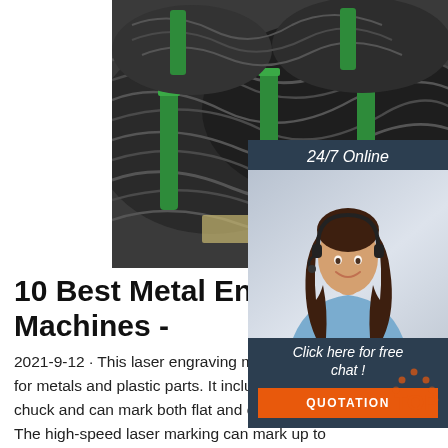[Figure (photo): Close-up photo of coils of dark metal wire/rod bundles tied with green plastic straps, stacked together.]
[Figure (photo): Customer service agent sidebar: woman with headset smiling, with '24/7 Online' header text, 'Click here for free chat!' prompt, and orange QUOTATION button on dark navy background.]
10 Best Metal Engraving Machines -
2021-9-12 · This laser engraving machine for metals and plastic parts. It includes a rotary chuck and can mark both flat and circle surface. The high-speed laser marking can mark up to 70,000mm/s and is suitable for a marking area of 175mm x 175mm. It has more than 100000-hour life and requires little to no maintenance.